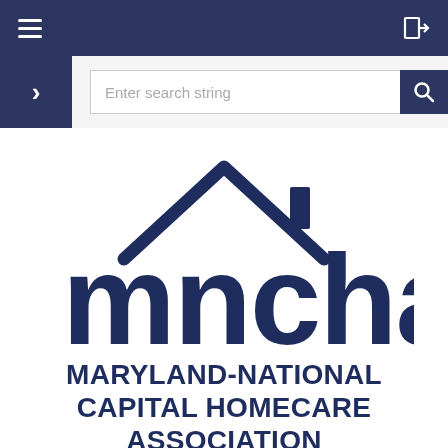Navigation bar with hamburger menu and login icon
[Figure (logo): MNCHA logo — stylized house roofline above bold lowercase letters 'mncha', dark navy blue, with a chimney detail on the right side of the roof]
MARYLAND-NATIONAL CAPITAL HOMECARE ASSOCIATION